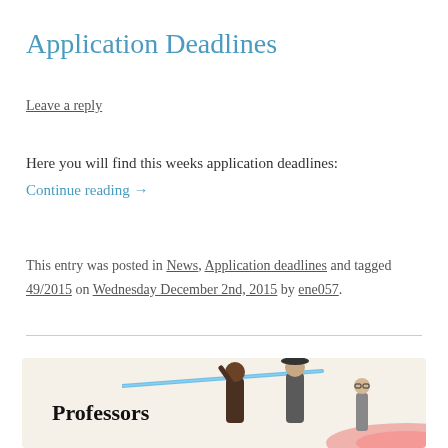Application Deadlines
Leave a reply
Here you will find this weeks application deadlines:
Continue reading →
This entry was posted in News, Application deadlines and tagged 49/2015 on Wednesday December 2nd, 2015 by ene057.
[Figure (illustration): Illustration showing cartoon professors characters with lightsabers, with the word 'Professors' in bold text on a cream/beige background.]